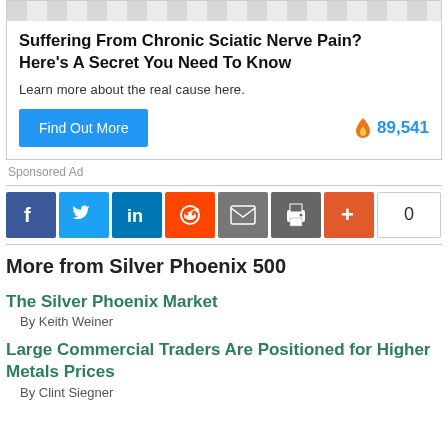[Figure (other): Sponsored ad box for sciatic nerve pain relief, with decorative top strip, headline, subtitle, blue 'Find Out More' button, and fire/count icon showing 89,541]
Sponsored Ad
[Figure (infographic): Social sharing buttons row: Facebook, Twitter, LinkedIn, Reddit, Email, Print, Plus, and share count showing 0]
More from Silver Phoenix 500
The Silver Phoenix Market
By Keith Weiner
Large Commercial Traders Are Positioned for Higher Metals Prices
By Clint Siegner